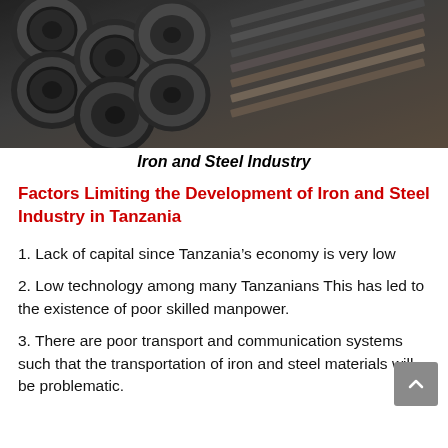[Figure (photo): Photograph of iron and steel pipes and metal sheets stacked together in an industrial setting]
Iron and Steel Industry
Factors Limiting the Development of Iron and Steel Industry in Tanzania
1. Lack of capital since Tanzania’s economy is very low
2. Low technology among many Tanzanians This has led to the existence of poor skilled manpower.
3. There are poor transport and communication systems such that the transportation of iron and steel materials will be problematic.